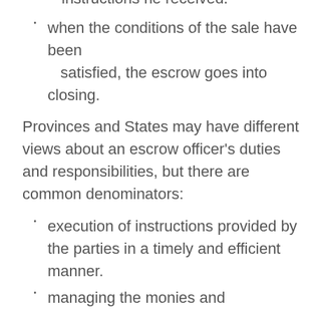instructions he received.
when the conditions of the sale have been satisfied, the escrow goes into closing.
Provinces and States may have different views about an escrow officer's duties and responsibilities, but there are common denominators:
execution of instructions provided by the parties in a timely and efficient manner.
managing the monies and safeguarding the documents as stipulated in the instructions.